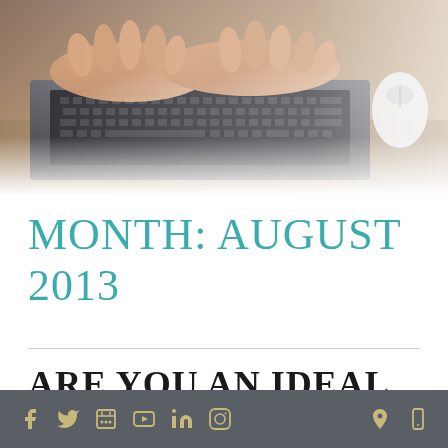[Figure (photo): Hands typing on a laptop keyboard with a white mouse on a wooden desk, close-up shot]
MONTH: AUGUST 2013
ARE YOU AN IDEAL CANDIDATE FOR A SALT
Social media icons: Facebook, Twitter, Google+, YouTube, LinkedIn, Instagram | Location and mobile icons